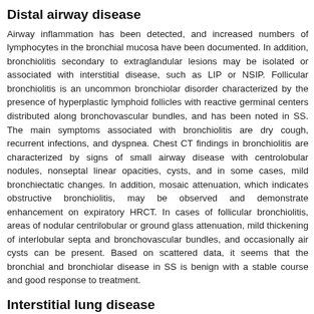Distal airway disease
Airway inflammation has been detected, and increased numbers of lymphocytes in the bronchial mucosa have been documented. In addition, bronchiolitis secondary to extraglandular lesions may be isolated or associated with interstitial disease, such as LIP or NSIP. Follicular bronchiolitis is an uncommon bronchiolar disorder characterized by the presence of hyperplastic lymphoid follicles with reactive germinal centers distributed along bronchovascular bundles, and has been noted in SS. The main symptoms associated with bronchiolitis are dry cough, recurrent infections, and dyspnea. Chest CT findings in bronchiolitis are characterized by signs of small airway disease with centrolobular nodules, nonseptal linear opacities, cysts, and in some cases, mild bronchiectatic changes. In addition, mosaic attenuation, which indicates obstructive bronchiolitis, may be observed and demonstrate enhancement on expiratory HRCT. In cases of follicular bronchiolitis, areas of nodular centrilobular or ground glass attenuation, mild thickening of interlobular septa and bronchovascular bundles, and occasionally air cysts can be present. Based on scattered data, it seems that the bronchial and bronchiolar disease in SS is benign with a stable course and good response to treatment.
Interstitial lung disease
Interstitial lung disease (ILD) is well-described in SS. Historically, th